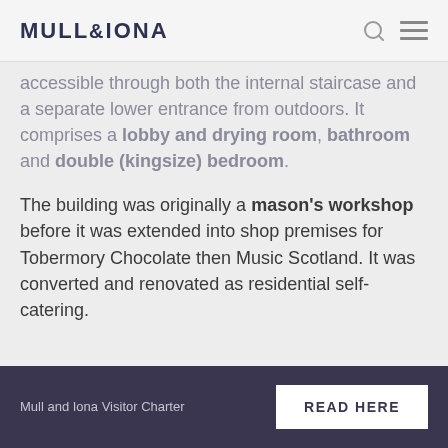MULL&IONA
accessible through both the internal staircase and a separate lower entrance from outdoors. It comprises a lobby and drying room, bathroom and double (kingsize) bedroom.
The building was originally a mason’s workshop before it was extended into shop premises for Tobermory Chocolate then Music Scotland. It was converted and renovated as residential self-catering.
Mull and Iona Visitor Charter  READ HERE